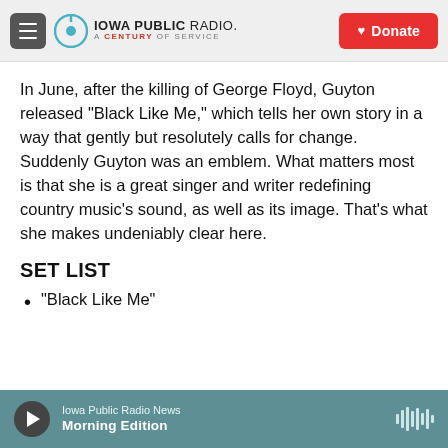Iowa Public Radio. A Century of Service | Donate
In June, after the killing of George Floyd, Guyton released "Black Like Me," which tells her own story in a way that gently but resolutely calls for change. Suddenly Guyton was an emblem. What matters most is that she is a great singer and writer redefining country music's sound, as well as its image. That's what she makes undeniably clear here.
SET LIST
"Black Like Me"
Iowa Public Radio News Morning Edition